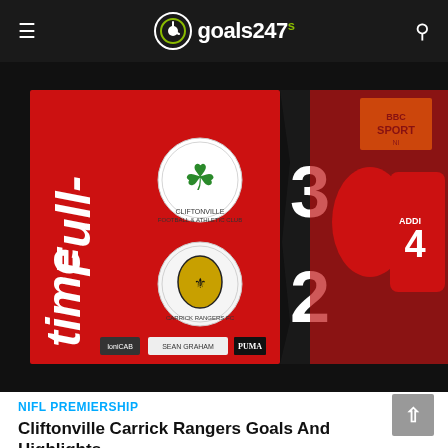goals247
[Figure (screenshot): BBC Sport full-time score graphic showing Cliftonville 3 - 2 Carrick Rangers, with players in red shirts celebrating on the right side]
NIFL PREMIERSHIP
Cliftonville Carrick Rangers Goals And Highlights